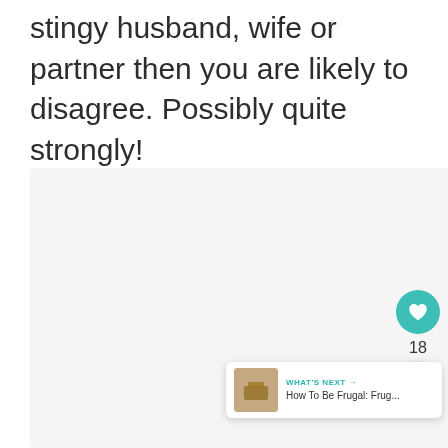stingy husband, wife or partner then you are likely to disagree. Possibly quite strongly!
[Figure (photo): A light gray placeholder image block occupying the lower portion of the page]
[Figure (infographic): Social interaction widgets: a teal heart/like button with count 18, a share button, and a 'WHAT'S NEXT' recommendation card showing 'How To Be Frugal: Frug...']